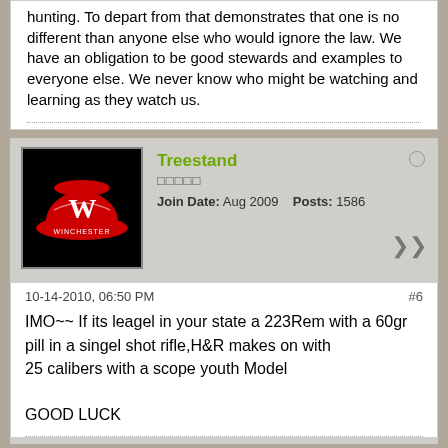hunting. To depart from that demonstrates that one is no different than anyone else who would ignore the law. We have an obligation to be good stewards and examples to everyone else. We never know who might be watching and learning as they watch us.
Treestand
★★★★★
Join Date: Aug 2009    Posts: 1586
10-14-2010, 06:50 PM
#6
IMO~~ If its leagel in your state a 223Rem with a 60gr pill in a singel shot rifle,H&R makes on with
25 calibers with a scope youth Model

GOOD LUCK
John B. Snow